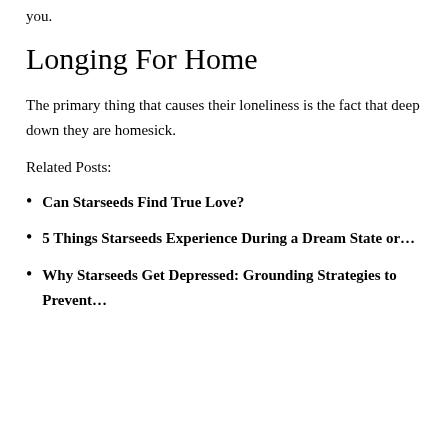you.
Longing For Home
The primary thing that causes their loneliness is the fact that deep down they are homesick.
Related Posts:
Can Starseeds Find True Love?
5 Things Starseeds Experience During a Dream State or…
Why Starseeds Get Depressed: Grounding Strategies to Prevent…